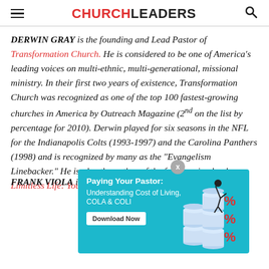CHURCHLEADERS
DERWIN GRAY is the founding and Lead Pastor of Transformation Church. He is considered to be one of America's leading voices on multi-ethnic, multi-generational, missional ministry. In their first two years of existence, Transformation Church was recognized as one of the top 100 fastest-growing churches in America by Outreach Magazine (2nd on the list by percentage for 2010). Derwin played for six seasons in the NFL for the Indianapolis Colts (1993-1997) and the Carolina Panthers (1998) and is recognized by many as the "Evangelism Linebacker." He is also the author of the forthcoming book, Limitless Life: You Are More Than Your Past W[ould Define You].
[Figure (infographic): Advertisement overlay: 'Paying Your Pastor: Understanding Cost of Living, COLA & COLI' with Download Now button and illustration of coin stacks with percentage symbols and a person]
FRANK VIOLA is the author of numerous books on the